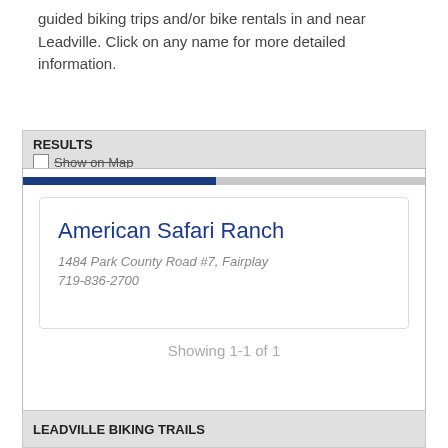guided biking trips and/or bike rentals in and near Leadville. Click on any name for more detailed information.
RESULTS
Show on Map
American Safari Ranch
1484 Park County Road #7, Fairplay
719-836-2700
Showing  1-1 of 1
LEADVILLE BIKING TRAILS